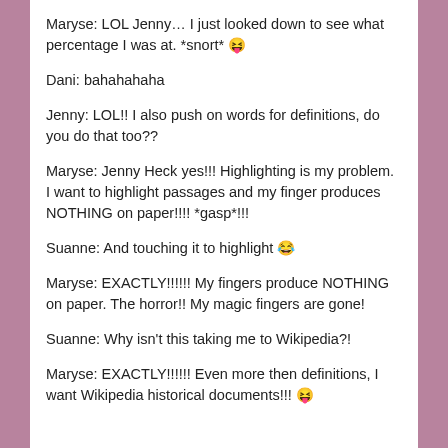Maryse: LOL Jenny… I just looked down to see what percentage I was at. *snort* 😝
Dani: bahahahaha
Jenny: LOL!! I also push on words for definitions, do you do that too??
Maryse: Jenny Heck yes!!! Highlighting is my problem. I want to highlight passages and my finger produces NOTHING on paper!!!! *gasp*!!!
Suanne: And touching it to highlight 😆
Maryse: EXACTLY!!!!!! My fingers produce NOTHING on paper. The horror!! My magic fingers are gone!
Suanne: Why isn't this taking me to Wikipedia?!
Maryse: EXACTLY!!!!!! Even more then definitions, I want Wikipedia historical documents!!! 😝